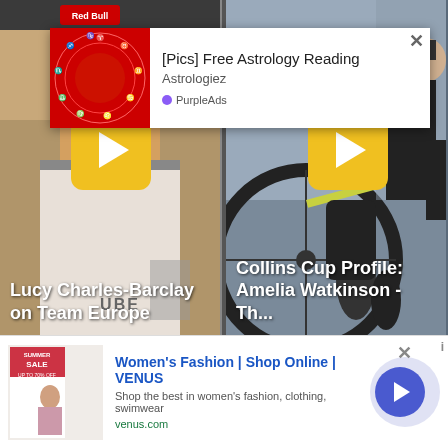[Figure (screenshot): Two video thumbnails side by side. Left: Lucy Charles-Barclay on Team Europe - woman athlete with yellow play button. Right: Collins Cup Profile: Amelia Watkinson - Th... - cyclist with yellow play button.]
[Figure (screenshot): Ad popup overlay: red astrology zodiac image on left, title '[Pics] Free Astrology Reading', source 'Astrologiez', PurpleAds branding, X close button.]
[Pics] Free Astrology Reading
Astrologiez
PurpleAds
Lucy Charles-Barclay on Team Europe
Collins Cup Profile: Amelia Watkinson - Th...
[Figure (screenshot): Bottom banner ad for Women's Fashion | Shop Online | VENUS from venus.com. Shows fashion imagery, blue title text, description, green URL, circular arrow button, and close X.]
Women's Fashion | Shop Online | VENUS
Shop the best in women's fashion, clothing, swimwear
venus.com